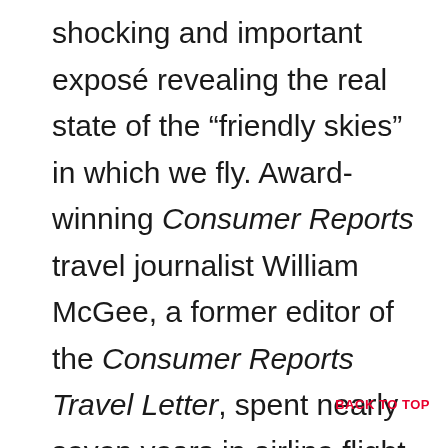shocking and important exposé revealing the real state of the “friendly skies” in which we fly. Award-winning Consumer Reports travel journalist William McGee, a former editor of the Consumer Reports Travel Letter, spent nearly seven years in airline flight operations management, and what he learned was less than uplifting. From TSA power grabs and
BACK TO TOP